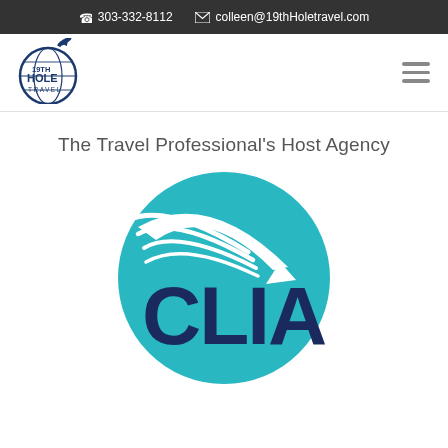303-332-8112   colleen@19thHoletravel.com
[Figure (logo): 19th Hole Travel circular logo with airplane]
The Travel Professional's Host Agency
[Figure (logo): CLIA (Cruise Lines International Association) circular teal logo with white swoosh and dark blue CLIA text]